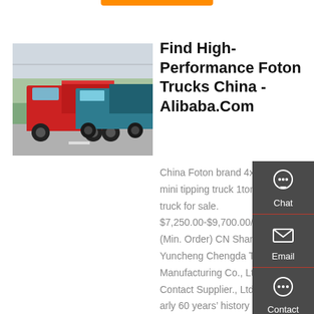[Figure (photo): Red and teal Foton dump trucks on a road]
Find High-Performance Foton Trucks China - Alibaba.Com
China Foton brand 4x2 small mini tipping truck 1ton dump truck for sale. $7,250.00-$9,700.00/ Set 1 Set (Min. Order) CN Shandong Yuncheng Chengda Trailer Manufacturing Co., Ltd. 8 YRS Contact Supplier., Ltd has nearly 60 years&rsquo; history since 1959, and was the first large state-owned